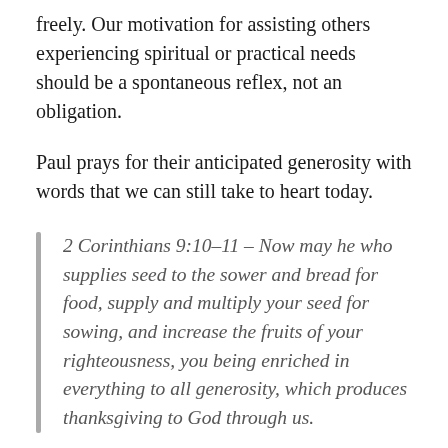freely. Our motivation for assisting others experiencing spiritual or practical needs should be a spontaneous reflex, not an obligation.
Paul prays for their anticipated generosity with words that we can still take to heart today.
2 Corinthians 9:10-11 – Now may he who supplies seed to the sower and bread for food, supply and multiply your seed for sowing, and increase the fruits of your righteousness, you being enriched in everything to all generosity, which produces thanksgiving to God through us.